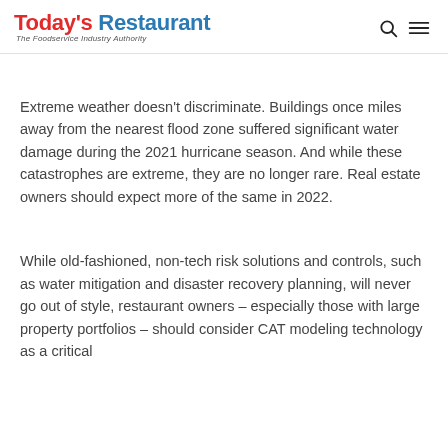Today's Restaurant – The Foodservice Industry Authority
Extreme weather doesn't discriminate. Buildings once miles away from the nearest flood zone suffered significant water damage during the 2021 hurricane season. And while these catastrophes are extreme, they are no longer rare. Real estate owners should expect more of the same in 2022.
While old-fashioned, non-tech risk solutions and controls, such as water mitigation and disaster recovery planning, will never go out of style, restaurant owners – especially those with large property portfolios – should consider CAT modeling technology as a critical